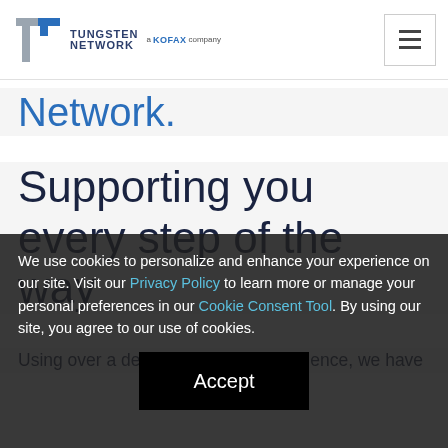[Figure (logo): Tungsten Network, a KOFAX company logo with hamburger menu icon]
Network.
Supporting you every step of the way
Using over a decade's worth of experience, we have
We use cookies to personalize and enhance your experience on our site. Visit our Privacy Policy to learn more or manage your personal preferences in our Cookie Consent Tool. By using our site, you agree to our use of cookies.
Accept